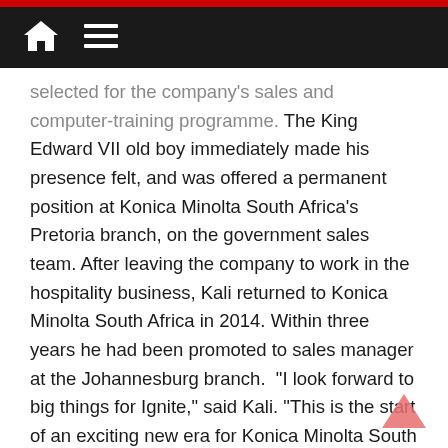[home icon] [menu icon]
selected for the company's sales and computer-training programme. The King Edward VII old boy immediately made his presence felt, and was offered a permanent position at Konica Minolta South Africa's Pretoria branch, on the government sales team. After leaving the company to work in the hospitality business, Kali returned to Konica Minolta South Africa in 2014. Within three years he had been promoted to sales manager at the Johannesburg branch. “I look forward to big things for Ignite,” said Kali. “This is the start of an exciting new era for Konica Minolta South Africa, and a great personal milestone. We will launch joint business ventures with the national organisation, and also build our own customer base.”
Kali credits the successful launch of the new business to the talented people who work with